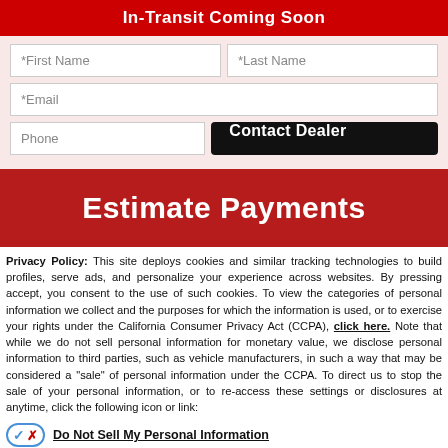In-Transit Coming Soon
[Figure (screenshot): Web form with First Name, Last Name, Email, Phone fields and a Contact Dealer button]
[Figure (screenshot): Estimate Payments dark red banner]
Privacy Policy: This site deploys cookies and similar tracking technologies to build profiles, serve ads, and personalize your experience across websites. By pressing accept, you consent to the use of such cookies. To view the categories of personal information we collect and the purposes for which the information is used, or to exercise your rights under the California Consumer Privacy Act (CCPA), click here. Note that while we do not sell personal information for monetary value, we disclose personal information to third parties, such as vehicle manufacturers, in such a way that may be considered a "sale" of personal information under the CCPA. To direct us to stop the sale of your personal information, or to re-access these settings or disclosures at anytime, click the following icon or link:
Do Not Sell My Personal Information
Language: English
Powered by ComplyAuto
Accept and Continue → | California Privacy Disclosures | X